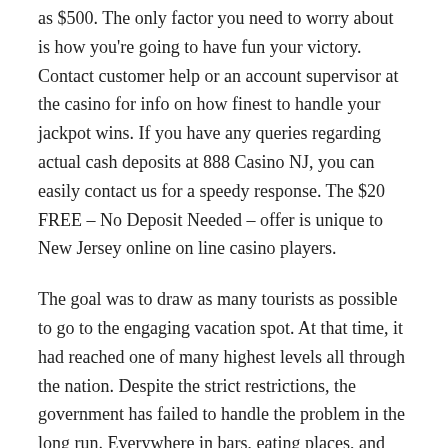as $500. The only factor you need to worry about is how you're going to have fun your victory. Contact customer help or an account supervisor at the casino for info on how finest to handle your jackpot wins. If you have any queries regarding actual cash deposits at 888 Casino NJ, you can easily contact us for a speedy response. The $20 FREE – No Deposit Needed – offer is unique to New Jersey online on line casino players.
The goal was to draw as many tourists as possible to go to the engaging vacation spot. At that time, it had reached one of many highest levels all through the nation. Despite the strict restrictions, the government has failed to handle the problem in the long run. Everywhere in bars, eating places, and even basements, tables kept being arrange, and unlawful betting was still organized – that managed to cheer up the working class's daily life. All these factors provided a precondition for the development of illegal casinos and the institution of criminal organized teams to manage them.